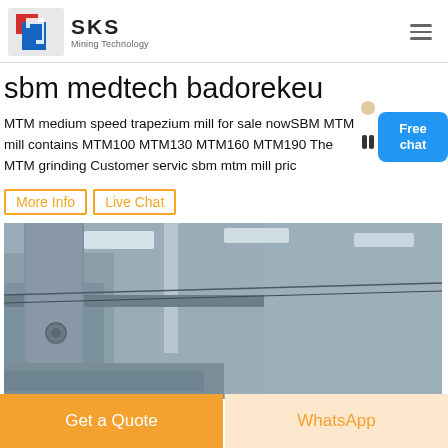SKS Mining Technology
sbm medtech badorekeu
MTM medium speed trapezium mill for sale nowSBM MTM mill contains MTM100 MTM130 MTM160 MTM190 The MTM grinding Customer servic sbm mtm mill pric
More Info
Live Chat
[Figure (photo): Industrial machinery interior showing large metal components, structural beams and panels in a factory/warehouse setting, grey tones]
Get a Quote
WhatsApp